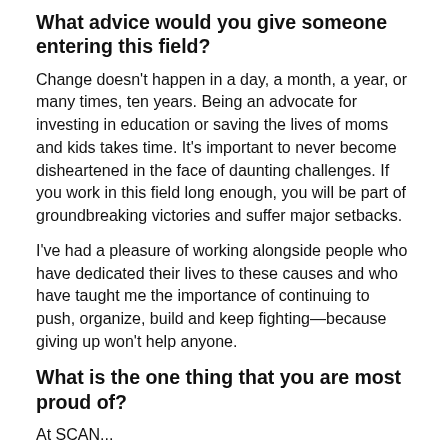What advice would you give someone entering this field?
Change doesn't happen in a day, a month, a year, or many times, ten years. Being an advocate for investing in education or saving the lives of moms and kids takes time. It's important to never become disheartened in the face of daunting challenges. If you work in this field long enough, you will be part of groundbreaking victories and suffer major setbacks.
I've had a pleasure of working alongside people who have dedicated their lives to these causes and who have taught me the importance of continuing to push, organize, build and keep fighting—because giving up won't help anyone.
What is the one thing that you are most proud of?
At SCAN...